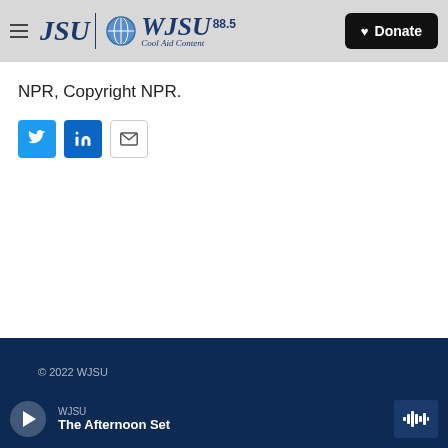WJSU 88.5 — JSU | Cool Aid Content — Donate
NPR, Copyright NPR.
[Figure (screenshot): Social share buttons: Twitter (blue), LinkedIn (blue), Email (white with border)]
© 2022 WJSU
WJSU
The Afternoon Set